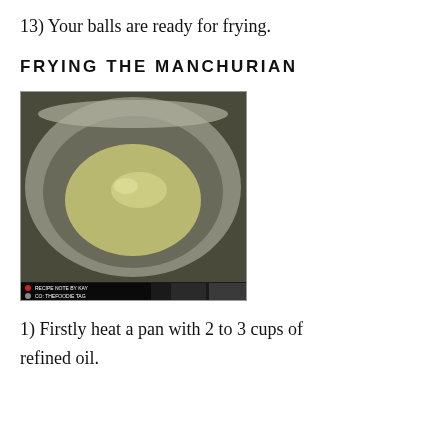13) Your balls are ready for frying.
FRYING THE MANCHURIAN
[Figure (photo): A metal pan/wok viewed from above with oil pooled in the center, sitting on a stove. A small watermark is visible at the bottom left corner of the image.]
1) Firstly heat a pan with 2 to 3 cups of refined oil.